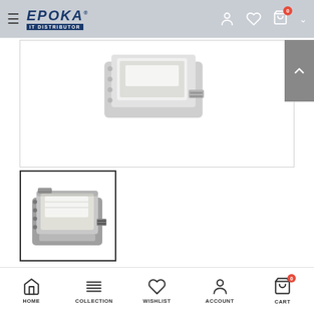EPOKA IT DISTRIBUTOR - navigation bar with hamburger menu, logo, account, wishlist, and cart icons
[Figure (photo): Partial view of Dell hard disk drive (HDD) in silver/grey tray mount, shown from above at an angle, cropped at top of main product image viewer area]
[Figure (photo): Thumbnail of Dell 600GB 15K SAS 2.5 hard disk drive in silver/grey tray mount, shown in a bordered thumbnail box]
Dell Disk 600GB 15K SAS 2.5
HOME | COLLECTION | WISHLIST | ACCOUNT | CART